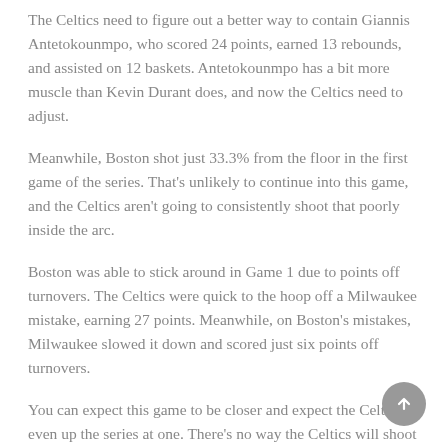The Celtics need to figure out a better way to contain Giannis Antetokounmpo, who scored 24 points, earned 13 rebounds, and assisted on 12 baskets. Antetokounmpo has a bit more muscle than Kevin Durant does, and now the Celtics need to adjust.
Meanwhile, Boston shot just 33.3% from the floor in the first game of the series. That's unlikely to continue into this game, and the Celtics aren't going to consistently shoot that poorly inside the arc.
Boston was able to stick around in Game 1 due to points off turnovers. The Celtics were quick to the hoop off a Milwaukee mistake, earning 27 points. Meanwhile, on Boston's mistakes, Milwaukee slowed it down and scored just six points off turnovers.
You can expect this game to be closer and expect the Celtics to even up the series at one. There's no way the Celtics will shoot as poorly as they did in Game 1 at home.
Bet: Celtics -4.5 (-110 at DraftKings)